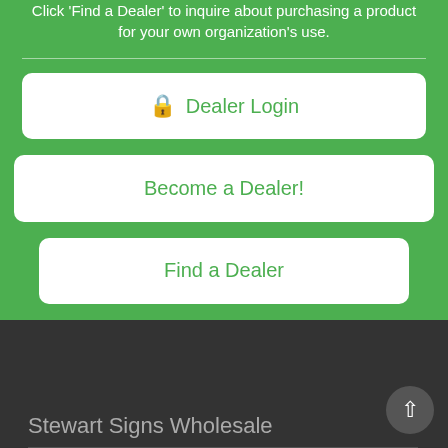Click 'Find a Dealer' to inquire about purchasing a product for your own organization's use.
Dealer Login
Become a Dealer!
Find a Dealer
Stewart Signs Wholesale